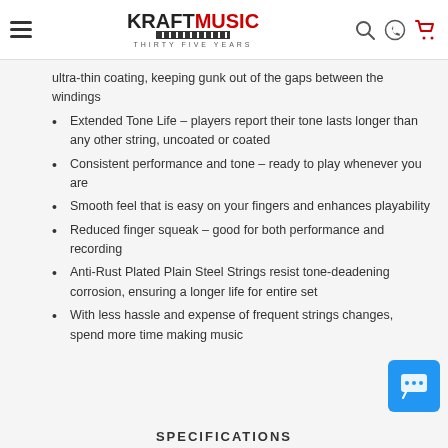Kraft Music – Thirty Five Years
ultra-thin coating, keeping gunk out of the gaps between the windings
Extended Tone Life – players report their tone lasts longer than any other string, uncoated or coated
Consistent performance and tone – ready to play whenever you are
Smooth feel that is easy on your fingers and enhances playability
Reduced finger squeak – good for both performance and recording
Anti-Rust Plated Plain Steel Strings resist tone-deadening corrosion, ensuring a longer life for entire set
With less hassle and expense of frequent strings changes, spend more time making music
[Figure (screenshot): Blue chat widget button in the bottom-right corner with speech bubble and ellipsis icon]
SPECIFICATIONS